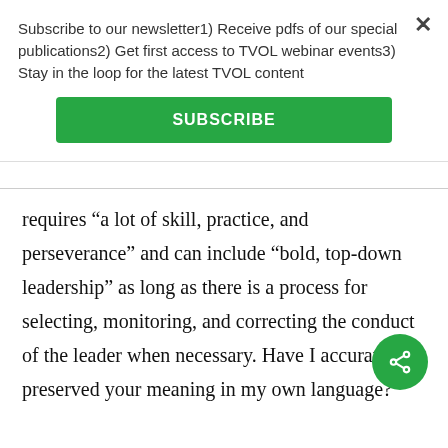Subscribe to our newsletter1) Receive pdfs of our special publications2) Get first access to TVOL webinar events3) Stay in the loop for the latest TVOL content
SUBSCRIBE
requires “a lot of skill, practice, and perseverance” and can include “bold, top-down leadership” as long as there is a process for selecting, monitoring, and correcting the conduct of the leader when necessary. Have I accurately preserved your meaning in my own language?